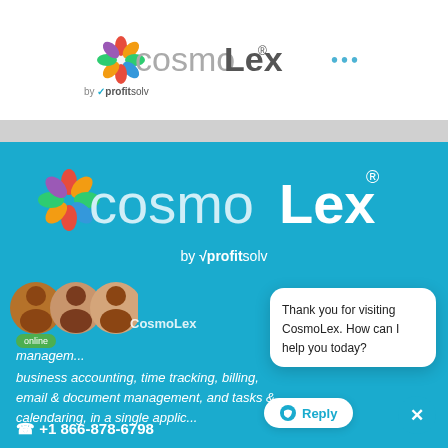[Figure (logo): CosmoLex logo with colorful flower/kaleidoscope icon, 'cosmo' in light gray and 'Lex' in dark bold, with registered trademark symbol, and three blue dots to right. Below: 'by √profitsolv']
[Figure (logo): Large CosmoLex logo on blue background with colorful flower icon, 'cosmo' in light/white and 'Lex' in white bold, registered trademark. Below: 'by √profitsolv']
[Figure (photo): Three overlapping circular portrait photos of support agents on blue background]
online
CosmoLex management...
business accounting, time tracking, billing, email & document management, and tasks & calendaring, in a single applic...
+1 866-878-6798
Thank you for visiting CosmoLex. How can I help you today?
Reply
✕